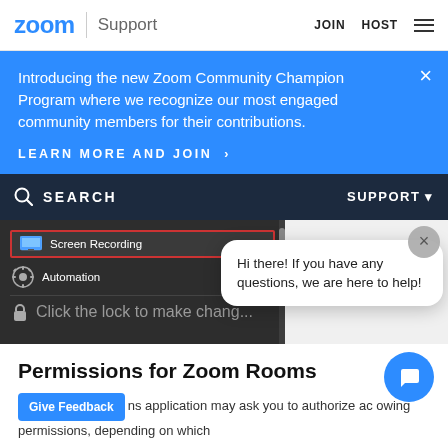zoom | Support   JOIN   HOST
Introducing the new Zoom Community Champion Program where we recognize our most engaged community members for their contributions.
LEARN MORE AND JOIN >
SEARCH   SUPPORT
[Figure (screenshot): macOS system preferences screenshot showing Screen Recording and Automation menu items, with a chat bubble overlay saying 'Hi there! If you have any questions, we are here to help!']
Permissions for Zoom Rooms
The Zoom Rooms application may ask you to authorize access to the following permissions, depending on which